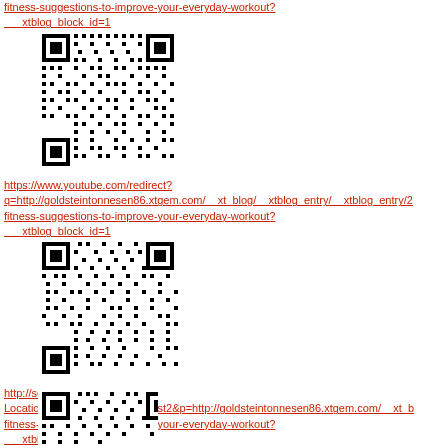fitness-suggestions-to-improve-your-everyday-workout?__xtblog_block_id=1 (link, truncated top)
[Figure (other): QR code linking to a fitness blog URL on goldsteintonnesen86.xtgem.com]
https://www.youtube.com/redirect?q=http://goldsteintonnesen86.xtgem.com/__xt_blog/__xtblog_entry/__xtblog_entry/2fitness-suggestions-to-improve-your-everyday-workout?__xtblog_block_id=1
[Figure (other): QR code linking to a YouTube redirect URL for a fitness blog]
http://search.bt.com/result?Location=Location&channel=Test2&p=http://goldsteintonnesen86.xtgem.com/__xt_b fitness-suggestions-to-improve-your-everyday-workout?__xtblog_block_id=1
[Figure (other): QR code linking to a BT search result URL for a fitness blog (partially visible)]